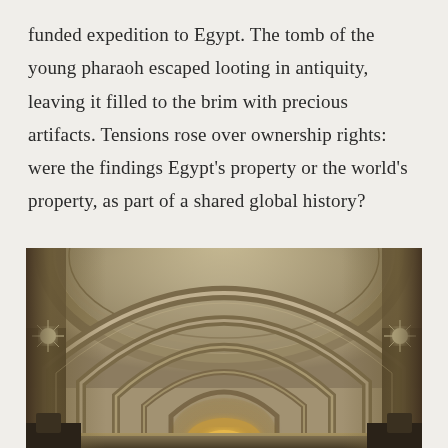funded expedition to Egypt. The tomb of the young pharaoh escaped looting in antiquity, leaving it filled to the brim with precious artifacts. Tensions rose over ownership rights: were the findings Egypt's property or the world's property, as part of a shared global history?
[Figure (photo): Interior of a grand museum hall with tall arched vaulted ceilings, ornate stonework arches, warm golden lighting at the far end, and classical architectural columns and arches receding into the distance.]